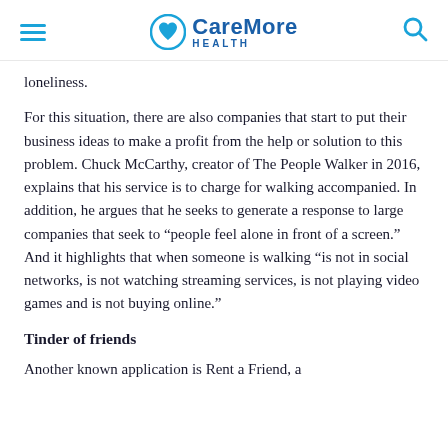CareMore Health
loneliness.
For this situation, there are also companies that start to put their business ideas to make a profit from the help or solution to this problem. Chuck McCarthy, creator of The People Walker in 2016, explains that his service is to charge for walking accompanied. In addition, he argues that he seeks to generate a response to large companies that seek to “people feel alone in front of a screen.” And it highlights that when someone is walking “is not in social networks, is not watching streaming services, is not playing video games and is not buying online.”
Tinder of friends
Another known application is Rent a Friend, a